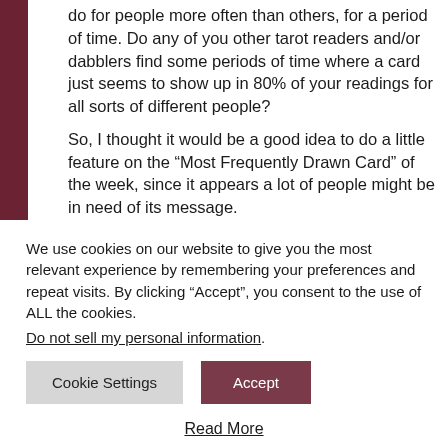do for people more often than others, for a period of time. Do any of you other tarot readers and/or dabblers find some periods of time where a card just seems to show up in 80% of your readings for all sorts of different people?
So, I thought it would be a good idea to do a little feature on the “Most Frequently Drawn Card” of the week, since it appears a lot of people might be in need of its message.
We use cookies on our website to give you the most relevant experience by remembering your preferences and repeat visits. By clicking “Accept”, you consent to the use of ALL the cookies.
Do not sell my personal information.
Cookie Settings
Accept
Read More